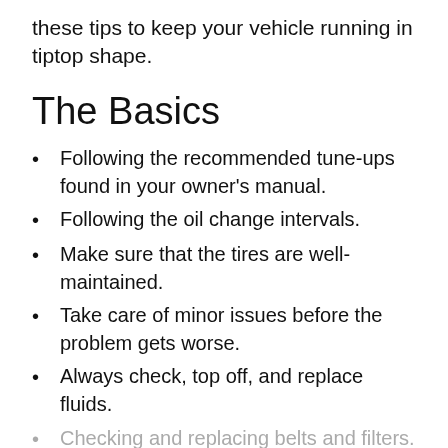these tips to keep your vehicle running in tiptop shape.
The Basics
Following the recommended tune-ups found in your owner's manual.
Following the oil change intervals.
Make sure that the tires are well-maintained.
Take care of minor issues before the problem gets worse.
Always check, top off, and replace fluids.
Checking and replacing belts and filters.